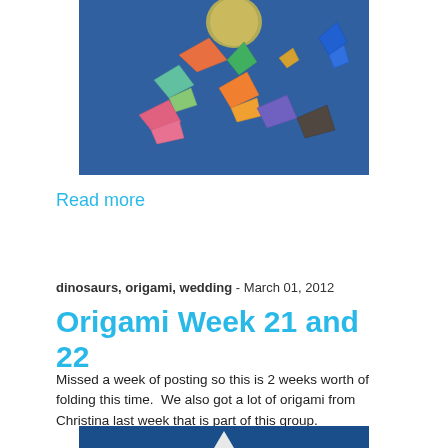[Figure (photo): Photo of colorful origami cranes and figures on a blue background]
Read more
dinosaurs, origami, wedding - March 01, 2012
Origami Week 21 and 22
Missed a week of posting so this is 2 weeks worth of folding this time.  We also got a lot of origami from Christina last week that is part of this group.
[Figure (photo): Partial photo showing blue background with white origami shape at bottom of page]